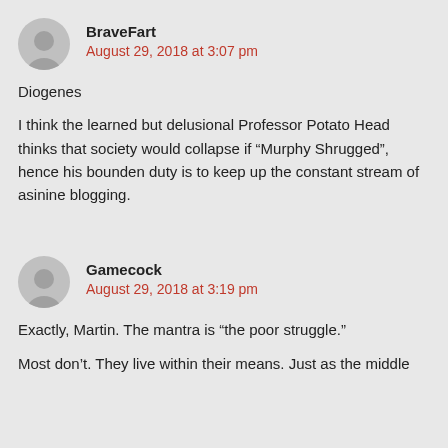BraveFart
August 29, 2018 at 3:07 pm
Diogenes
I think the learned but delusional Professor Potato Head thinks that society would collapse if “Murphy Shrugged”, hence his bounden duty is to keep up the constant stream of asinine blogging.
Gamecock
August 29, 2018 at 3:19 pm
Exactly, Martin. The mantra is “the poor struggle.”
Most don’t. They live within their means. Just as the middle